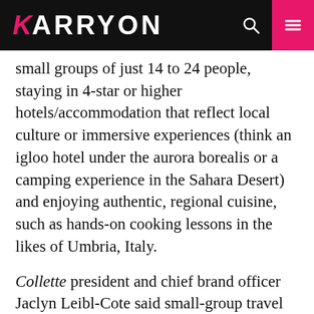KARRYON
small groups of just 14 to 24 people, staying in 4-star or higher hotels/accommodation that reflect local culture or immersive experiences (think an igloo hotel under the aurora borealis or a camping experience in the Sahara Desert)  and enjoying authentic, regional cuisine, such as hands-on cooking lessons in the likes of Umbria, Italy.
Collette president and chief brand officer Jaclyn Leibl-Cote said small-group travel was the fastest-growing travel style in the global tour operator's travel and tour offerings.
“Of the 50 new tours launched by Collette in the